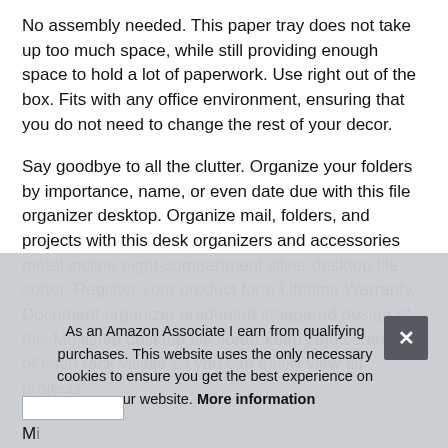No assembly needed. This paper tray does not take up too much space, while still providing enough space to hold a lot of paperwork. Use right out of the box. Fits with any office environment, ensuring that you do not need to change the rest of your decor.
Say goodbye to all the clutter. Organize your folders by importance, name, or even date due with this file organizer desktop. Organize mail, folders, and projects with this desk organizers and accessories metal incline eight-compartment silver desktop file sorter. Register your product for a Lifetime Warranty. Document organizer graduated staggered design of this Multistep desktop file sorter keeps the contents of each rack visible so you can easily view all projects
As an Amazon Associate I earn from qualifying purchases. This website uses the only necessary cookies to ensure you get the best experience on our website. More information